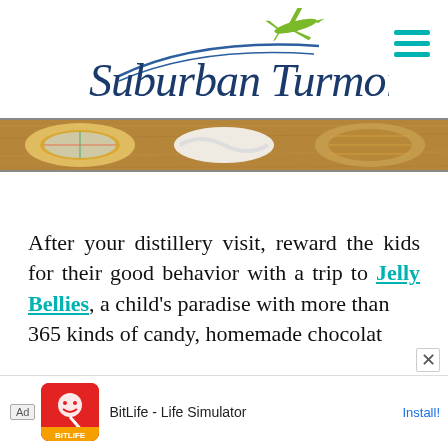[Figure (logo): Suburban Turmoil blog logo with airplane graphic and cursive text]
[Figure (photo): Hero banner image showing woven baskets and fabric on a wooden surface]
After your distillery visit, reward the kids for their good behavior with a trip to Jelly Bellies, a child's paradise with more than 365 kinds of candy, homemade chocolat…
[Figure (screenshot): Advertisement banner: BitLife - Life Simulator app ad with Install button]